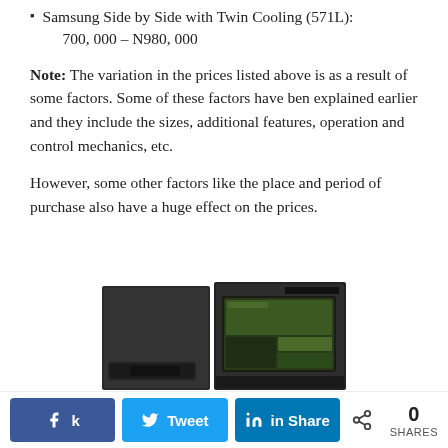Samsung Side by Side with Twin Cooling (571L): 700, 000 – N980, 000
Note: The variation in the prices listed above is as a result of some factors. Some of these factors have ben explained earlier and they include the sizes, additional features, operation and control mechanics, etc.
However, some other factors like the place and period of purchase also have a huge effect on the prices.
[Figure (photo): Samsung side-by-side refrigerator with Twin Cooling, dark stainless steel finish, with a touchscreen display panel on the right door.]
k Share  Tweet  in Share  < 0 SHARES